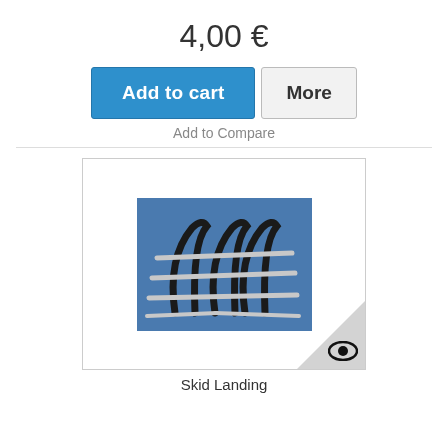4,00 €
Add to cart
More
Add to Compare
[Figure (photo): Product image of a Skid Landing component on a blue background, showing two black curved uprights connected by horizontal silver rails, resembling helicopter skid landing gear.]
Skid Landing